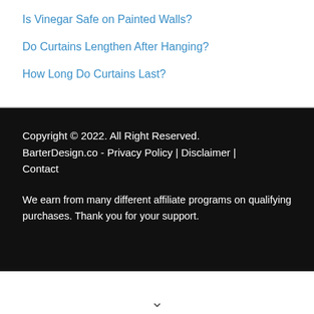Is Vinegar Safe on Painted Walls?
Do Curtains Lengthen After Hanging?
How Long Do Curtains Last?
Copyright © 2022. All Right Reserved. BarterDesign.co - Privacy Policy | Disclaimer | Contact

We earn from many different affiliate programs on qualifying purchases. Thank you for your support.